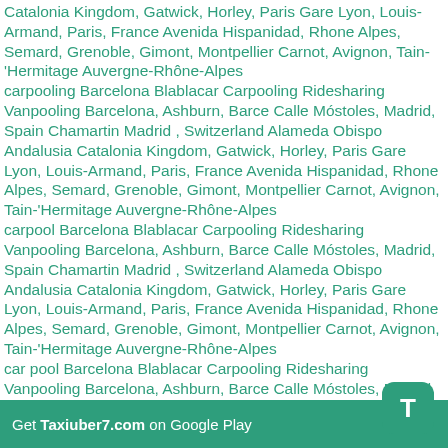Catalonia Kingdom, Gatwick, Horley, Paris Gare Lyon, Louis-Armand, Paris, France Avenida Hispanidad, Rhone Alpes, Semard, Grenoble, Gimont, Montpellier Carnot, Avignon, Tain-'Hermitage Auvergne-Rhône-Alpes carpooling Barcelona Blablacar Carpooling Ridesharing Vanpooling Barcelona, Ashburn, Barce Calle Móstoles, Madrid, Spain Chamartin Madrid , Switzerland Alameda Obispo Andalusia Catalonia Kingdom, Gatwick, Horley, Paris Gare Lyon, Louis-Armand, Paris, France Avenida Hispanidad, Rhone Alpes, Semard, Grenoble, Gimont, Montpellier Carnot, Avignon, Tain-'Hermitage Auvergne-Rhône-Alpes carpool Barcelona Blablacar Carpooling Ridesharing Vanpooling Barcelona, Ashburn, Barce Calle Móstoles, Madrid, Spain Chamartin Madrid , Switzerland Alameda Obispo Andalusia Catalonia Kingdom, Gatwick, Horley, Paris Gare Lyon, Louis-Armand, Paris, France Avenida Hispanidad, Rhone Alpes, Semard, Grenoble, Gimont, Montpellier Carnot, Avignon, Tain-'Hermitage Auvergne-Rhône-Alpes car pool Barcelona Blablacar Carpooling Ridesharing Vanpooling Barcelona, Ashburn, Barce Calle Móstoles, Madrid, Spain Chamartin Madrid , Switzerland Alameda Obispo Andalusia Catalonia Kingdom, Gatwick, Horley, Paris Gare Lyon, Louis-Armand, Paris, France Avenida Hispanidad, Rhone Alpes, Semard, Grenoble, Gimont, Montpellier Carnot, Avignon, Tain-'Hermitage Auvergne-Rhône-Alpes
Get Taxiuber7.com on Google Play